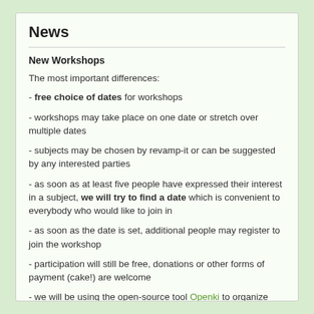News
New Workshops
The most important differences:
- free choice of dates for workshops
- workshops may take place on one date or stretch over multiple dates
- subjects may be chosen by revamp-it or can be suggested by any interested parties
- as soon as at least five people have expressed their interest in a subject, we will try to find a date which is convenient to everybody who would like to join in
- as soon as the date is set, additional people may register to join the workshop
- participation will still be free, donations or other forms of payment (cake!) are welcome
- we will be using the open-source tool Openki to organize further workshops
Further information